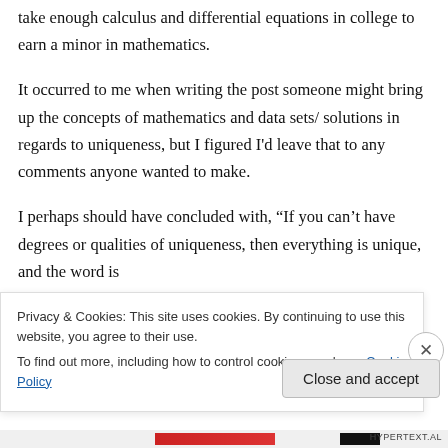take enough calculus and differential equations in college to earn a minor in mathematics.
It occurred to me when writing the post someone might bring up the concepts of mathematics and data sets/ solutions in regards to uniqueness, but I figured I'd leave that to any comments anyone wanted to make.
I perhaps should have concluded with, “If you can’t have degrees or qualities of uniqueness, then everything is unique, and the word is
Privacy & Cookies: This site uses cookies. By continuing to use this website, you agree to their use.
To find out more, including how to control cookies, see here: Cookie Policy